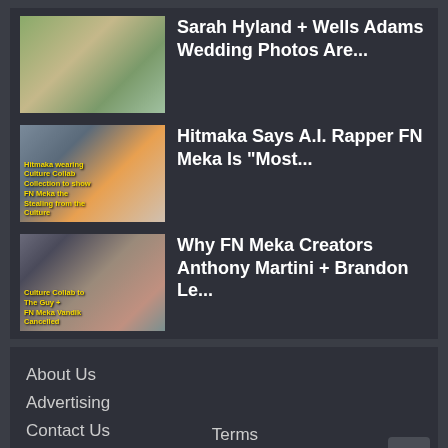[Figure (photo): Wedding photo thumbnail - Sarah Hyland and Wells Adams]
Sarah Hyland + Wells Adams Wedding Photos Are...
[Figure (photo): Hitmaka thumbnail with orange hat person and text overlay about AI rapper FN Meka]
Hitmaka Says A.I. Rapper FN Meka Is "Most...
[Figure (photo): FN Meka creators thumbnail with two men and text overlay about Culture Collab]
Why FN Meka Creators Anthony Martini + Brandon Le...
About Us
Advertising
Contact Us
Privacy Policy
Terms